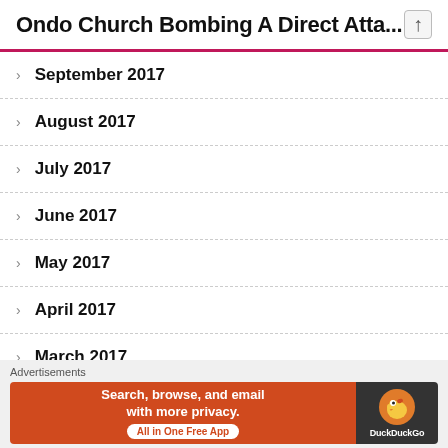Ondo Church Bombing A Direct Atta...
September 2017
August 2017
July 2017
June 2017
May 2017
April 2017
March 2017
February 2017
January 2017
Advertisements
[Figure (infographic): DuckDuckGo advertisement banner: orange left panel with text 'Search, browse, and email with more privacy. All in One Free App' and dark right panel with DuckDuckGo duck logo]